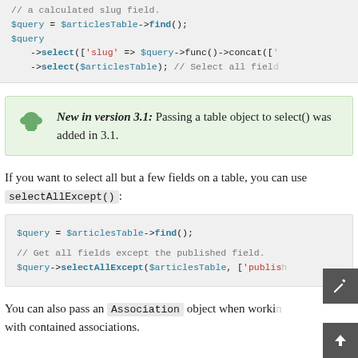[Figure (screenshot): Code block showing $query = $articlesTable->find(); $query ->select(['slug' => $query->func()->concat([' ->select($articlesTable); // Select all field]
New in version 3.1: Passing a table object to select() was added in 3.1.
If you want to select all but a few fields on a table, you can use selectAllExcept():
[Figure (screenshot): Code block showing $query = $articlesTable->find(); // Get all fields except the published field. $query->selectAllExcept($articlesTable, ['publish...]
You can also pass an Association object when working with contained associations.